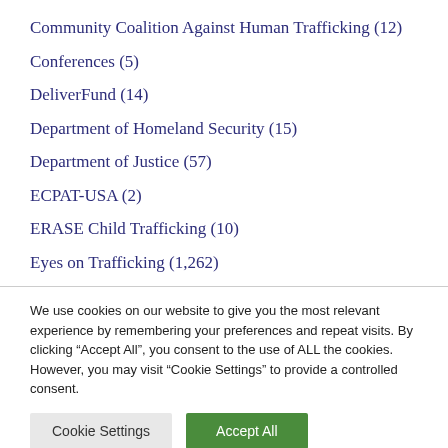Community Coalition Against Human Trafficking (12)
Conferences (5)
DeliverFund (14)
Department of Homeland Security (15)
Department of Justice (57)
ECPAT-USA (2)
ERASE Child Trafficking (10)
Eyes on Trafficking (1,262)
We use cookies on our website to give you the most relevant experience by remembering your preferences and repeat visits. By clicking “Accept All”, you consent to the use of ALL the cookies. However, you may visit “Cookie Settings” to provide a controlled consent.
Cookie Settings | Accept All